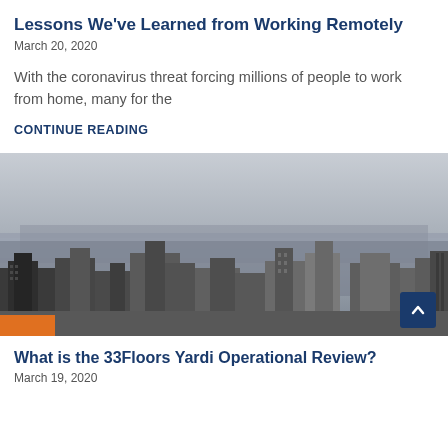Lessons We've Learned from Working Remotely
March 20, 2020
With the coronavirus threat forcing millions of people to work from home, many for the
CONTINUE READING
[Figure (photo): Black and white aerial cityscape photo showing a dense urban skyline with skyscrapers, with a small orange element visible at the bottom left corner.]
What is the 33Floors Yardi Operational Review?
March 19, 2020